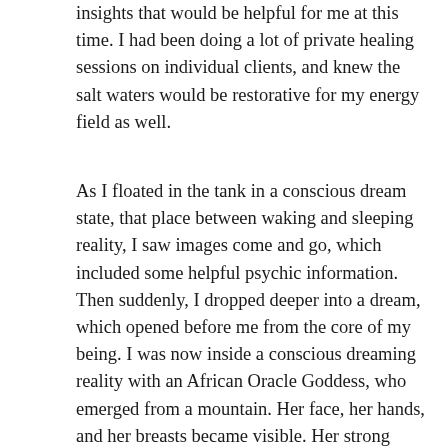insights that would be helpful for me at this time. I had been doing a lot of private healing sessions on individual clients, and knew the salt waters would be restorative for my energy field as well.
As I floated in the tank in a conscious dream state, that place between waking and sleeping reality, I saw images come and go, which included some helpful psychic information. Then suddenly, I dropped deeper into a dream, which opened before me from the core of my being. I was now inside a conscious dreaming reality with an African Oracle Goddess, who emerged from a mountain. Her face, her hands, and her breasts became visible. Her strong voice was heard inside my dream. She said, I have not been seen in a very long time. It is time for me to emerge. I tell her I had set the intention to work on personal work, and not focused on collective